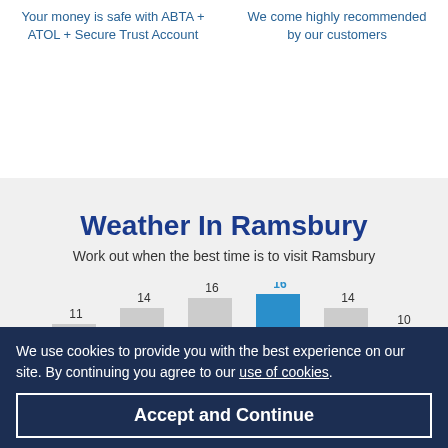Your money is safe with ABTA + ATOL + Secure Trust Account
We come highly recommended by our customers
Weather In Ramsbury
Work out when the best time is to visit Ramsbury
[Figure (bar-chart): Weather In Ramsbury]
We use cookies to provide you with the best experience on our site. By continuing you agree to our use of cookies.
Accept and Continue